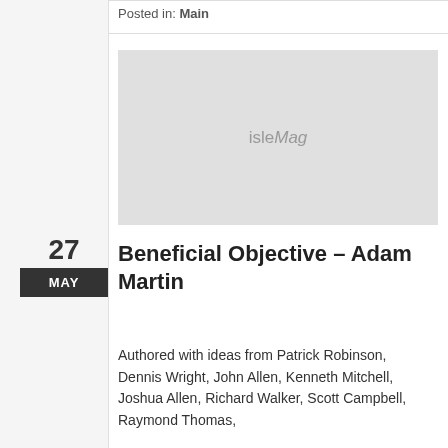Posted in: Main
[Figure (illustration): Placeholder image with isleMag watermark text on light grey background]
Beneficial Objective – Adam Martin
Authored with ideas from Patrick Robinson, Dennis Wright, John Allen, Kenneth Mitchell, Joshua Allen, Richard Walker, Scott Campbell, Raymond Thomas,